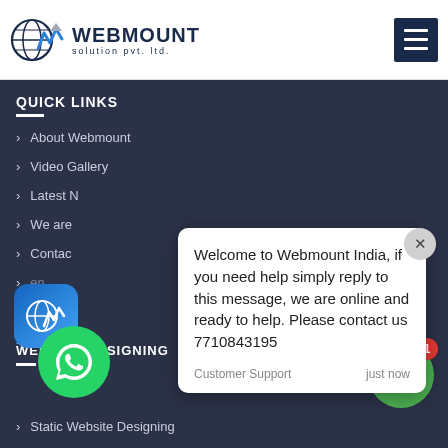[Figure (logo): Webmount Solution Pvt. Ltd. logo with globe and waveform icon]
QUICK LINKS
About Webmount
Video Gallery
Latest N...
We are...
Contact...
...en...
...ai...
Site Map
Welcome to Webmount India, if you need help simply reply to this message, we are online and ready to help. Please contact us 7710843195
Customer Support   just now
WEBSITE DESIGNING
Static Website Designing